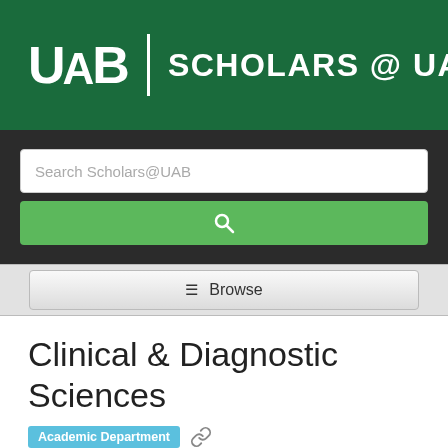[Figure (logo): UAB Scholars @ UAB logo on green header background]
[Figure (screenshot): Search bar with 'Search Scholars@UAB' placeholder and green search button]
[Figure (screenshot): Browse button with hamburger menu icon]
Clinical & Diagnostic Sciences
Academic Department
Temporal Graph
Map of Science